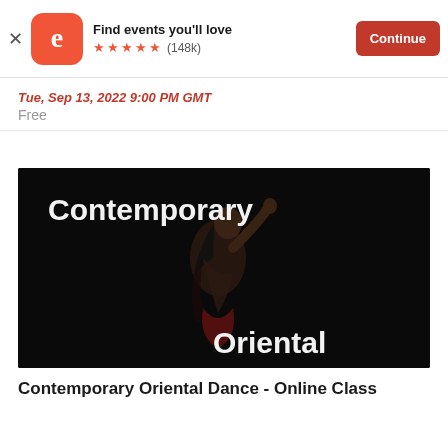Find events you'll love ★★★★★ (148k) Continue
Tue, Sep 13, 2022 9:00 PM GMT
Free
[Figure (photo): Dark background photo of a woman dancing with text 'Contemporary' at top and 'Oriental' at bottom right]
Contemporary Oriental Dance - Online Class